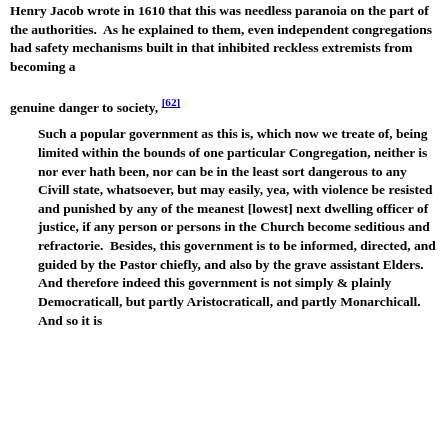Henry Jacob wrote in 1610 that this was needless paranoia on the part of the authorities.  As he explained to them, even independent congregations had safety mechanisms built in that inhibited reckless extremists from becoming a genuine danger to society, [62]
Such a popular government as this is, which now we treate of, being limited within the bounds of one particular Congregation, neither is nor ever hath been, nor can be in the least sort dangerous to any Civill state, whatsoever, but may easily, yea, with violence be resisted and punished by any of the meanest [lowest] next dwelling officer of justice, if any person or persons in the Church become seditious and refractorie.  Besides, this government is to be informed, directed, and guided by the Pastor chiefly, and also by the grave assistant Elders.  And therefore indeed this government is not simply & plainly Democraticall, but partly Aristocraticall, and partly Monarchicall.  And so it is